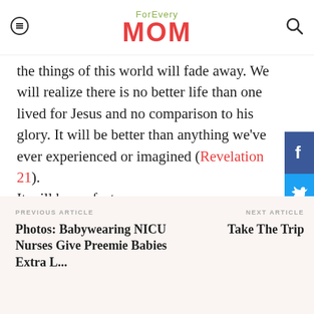For Every MOM
the things of this world will fade away. We will realize there is no better life than one lived for Jesus and no comparison to his glory. It will be better than anything we've ever experienced or imagined (Revelation 21).
It will be perfect.
MOM LIFE
MOTHERHOOD
PREVIOUS ARTICLE
Photos: Babywearing NICU Nurses Give Preemie Babies Extra L...
NEXT ARTICLE
Take The Trip